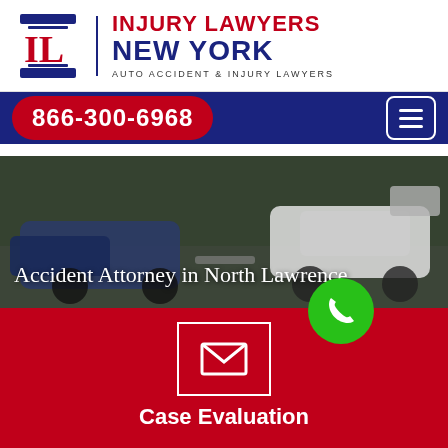[Figure (logo): Injury Lawyers New York logo with IL column icon, firm name in red and blue, tagline AUTO ACCIDENT & INJURY LAWYERS]
866-300-6968
[Figure (photo): Accident scene with a wrecked blue car and a white SUV with open trunk on a road]
Accident Attorney in North Lawrence
[Figure (infographic): Red section with floating green phone button, white envelope icon in a bordered box, and Case Evaluation heading]
Case Evaluation